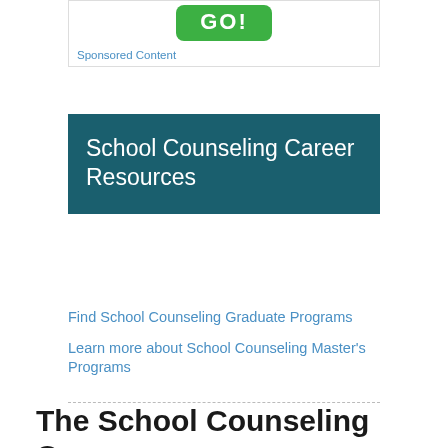[Figure (other): Green GO! button inside a sponsored content box with border]
Sponsored Content
School Counseling Career Resources
Find School Counseling Graduate Programs
Learn more about School Counseling Master's Programs
The School Counseling Career
The School Counseling or Guidance Counseling career is one that is constantly evolving at an increasing pace. The necessity of incorporating